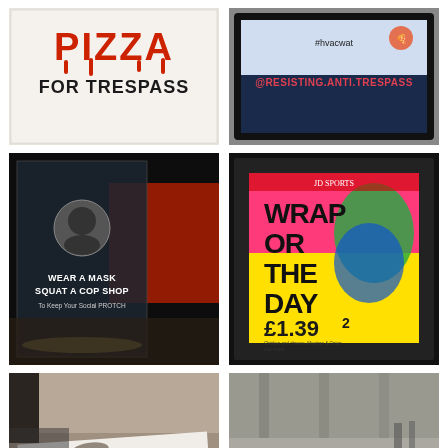[Figure (photo): A hand-made sign on white paper reading 'PIZZA FOR TRESPASS' in bold lettering, with dripping red paint forming the word PIZZA at the top.]
[Figure (photo): A digital billboard display showing '@RESISTING.ANTI.TRESPASS' with a hashtag and social media style text on screen.]
[Figure (photo): A bus shelter advertising panel at night showing a subverted advert reading 'WEAR A MASK SQUAT A COP SHOP To Keep Your Social PROTCH' with a circular portrait image on dark background, a red bus visible behind.]
[Figure (photo): A brightly lit bus shelter advert for JD Sports at night showing 'WRAP OR THE DAY £1.99' on a vivid pink/yellow background with a colorful wrapped figure graphic.]
[Figure (photo): A close-up ground-level photo showing large format printed posters/banners laid out on a floor, with activist graphics visible.]
[Figure (photo): A wide shot of a large indoor space (possibly a car park or transit area) with multiple large printed banners/posters laid out on the floor, one reading 'zeePizza'.]